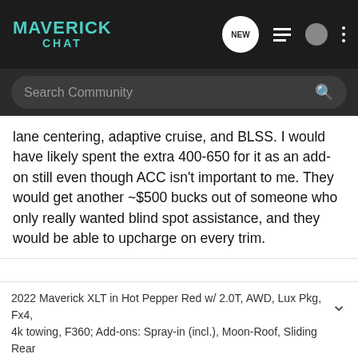MAVERICK CHAT
lane centering, adaptive cruise, and BLSS. I would have likely spent the extra 400-650 for it as an add-on still even though ACC isn't important to me. They would get another ~$500 bucks out of someone who only really wanted blind spot assistance, and they would be able to upcharge on every trim.
2022 Maverick XLT in Hot Pepper Red w/ 2.0T, AWD, Lux Pkg, Fx4, 4k towing, F360; Add-ons: Spray-in (incl.), Moon-Roof, Sliding Rear
Fishchris · Registered 🇺🇸
[Figure (advertisement): Pedal Commander advertisement banner: arrow graphic on dark background with Pedal Commander device, Pedal Commander logo with star, tagline YOU WILL SMILE 100% WITH PEDAL COMMANDER in orange]